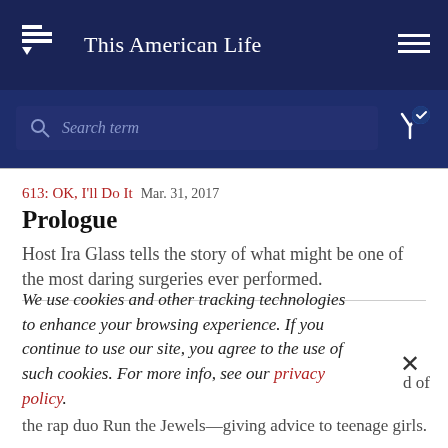This American Life
[Figure (screenshot): Search bar with search icon and placeholder text 'Search term', plus a filter icon with checkmark]
613: OK, I'll Do It  Mar. 31, 2017
Prologue
Host Ira Glass tells the story of what might be one of the most daring surgeries ever performed.
We use cookies and other tracking technologies to enhance your browsing experience. If you continue to use our site, you agree to the use of such cookies. For more info, see our privacy policy.
d of
the rap duo Run the Jewels—giving advice to teenage girls.